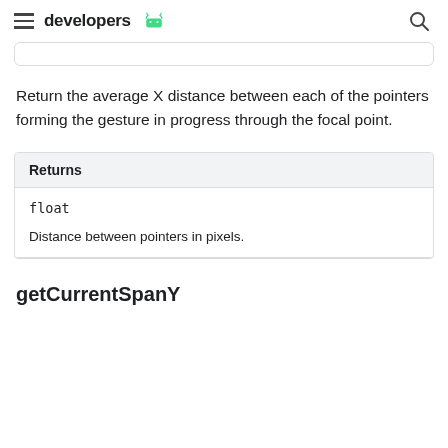developers
Return the average X distance between each of the pointers forming the gesture in progress through the focal point.
| Returns |
| --- |
| float | Distance between pointers in pixels. |
getCurrentSpanY